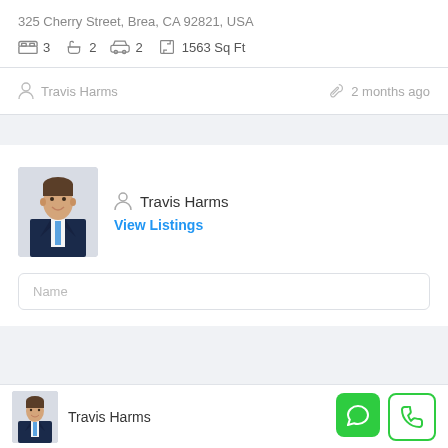325 Cherry Street, Brea, CA 92821, USA
3  2  2  1563 Sq Ft
Travis Harms  2 months ago
Travis Harms
View Listings
Name
Travis Harms